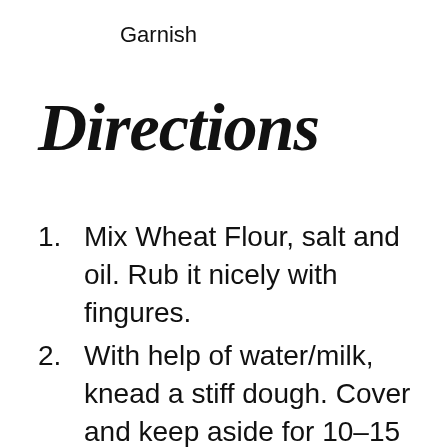Garnish
Directions
Mix Wheat Flour, salt and oil. Rub it nicely with fingures.
With help of water/milk, knead a stiff dough. Cover and keep aside for 10–15